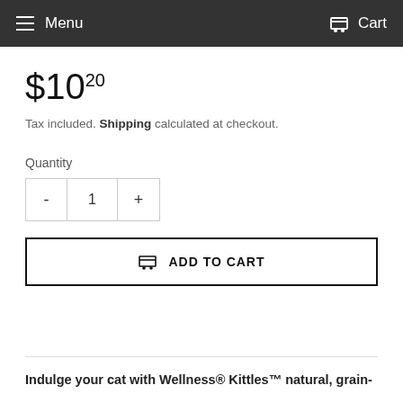Menu  Cart
$10.20
Tax included. Shipping calculated at checkout.
Quantity
- 1 +
ADD TO CART
Indulge your cat with Wellness® Kittles™ natural, grain-free...